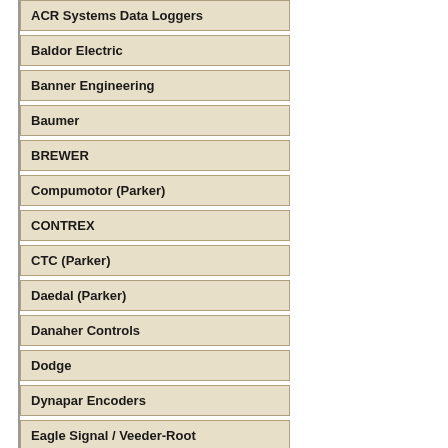ACR Systems Data Loggers
Baldor Electric
Banner Engineering
Baumer
BREWER
Compumotor (Parker)
CONTREX
CTC (Parker)
Daedal (Parker)
Danaher Controls
Dodge
Dynapar Encoders
Eagle Signal / Veeder-Root
Nidec - Control Techniques
Euchner
EWON
Fireye